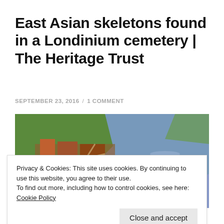East Asian skeletons found in a Londinium cemetery | The Heritage Trust
SEPTEMBER 23, 2016 / 1 COMMENT
[Figure (illustration): Aerial illustration painting of ancient Londinium (Roman London) showing the town beside a wide river with a bridge, buildings with red roofs on the left bank, green landscape and waterways.]
Privacy & Cookies: This site uses cookies. By continuing to use this website, you agree to their use.
To find out more, including how to control cookies, see here: Cookie Policy
Close and accept